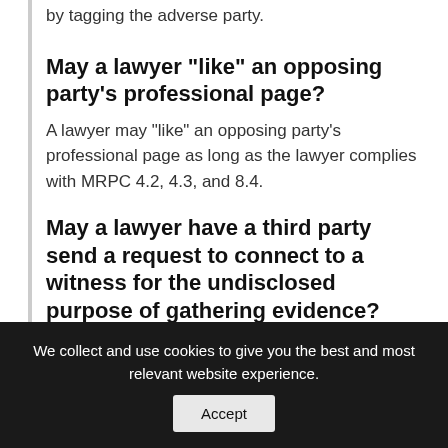by tagging the adverse party.
May a lawyer “like” an opposing party’s professional page?
A lawyer may “like” an opposing party’s professional page as long as the lawyer complies with MRPC 4.2, 4.3, and 8.4.
May a lawyer have a third party send a request to connect to a witness for the undisclosed purpose of gathering evidence?
Lawyers are responsible for the actions of their agents consistent with the requirements of MRPC 5.3. A
We collect and use cookies to give you the best and most relevant website experience.